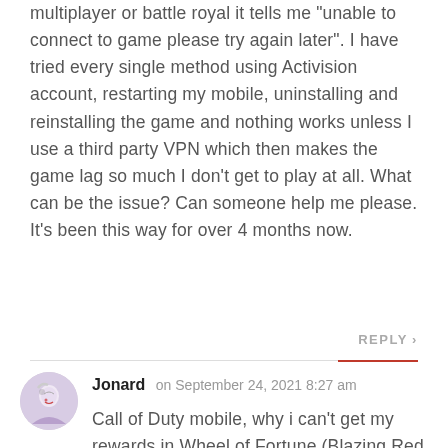multiplayer or battle royal it tells me "unable to connect to game please try again later". I have tried every single method using Activision account, restarting my mobile, uninstalling and reinstalling the game and nothing works unless I use a third party VPN which then makes the game lag so much I don't get to play at all. What can be the issue? Can someone help me please. It's been this way for over 4 months now.
REPLY >
Jonard on September 24, 2021 8:27 am
Call of Duty mobile, why i can't get my rewards in Wheel of Fortune (Blazing Red Treasure) i need your support or recover my